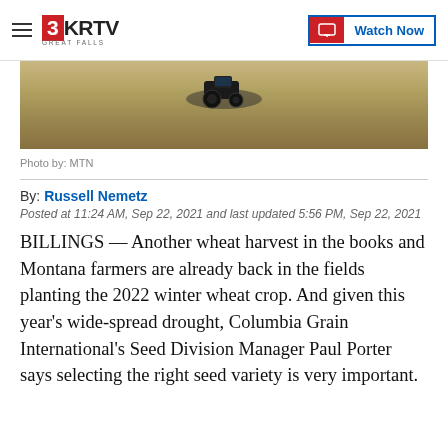3KRTV GREAT FALLS | Watch Now
[Figure (photo): Aerial or elevated view of farm equipment (tractor/harvester) on a harvested wheat field with tan/golden stubble ground]
Photo by: MTN
By: Russell Nemetz
Posted at 11:24 AM, Sep 22, 2021 and last updated 5:56 PM, Sep 22, 2021
BILLINGS — Another wheat harvest in the books and Montana farmers are already back in the fields planting the 2022 winter wheat crop. And given this year's wide-spread drought, Columbia Grain International's Seed Division Manager Paul Porter says selecting the right seed variety is very important.